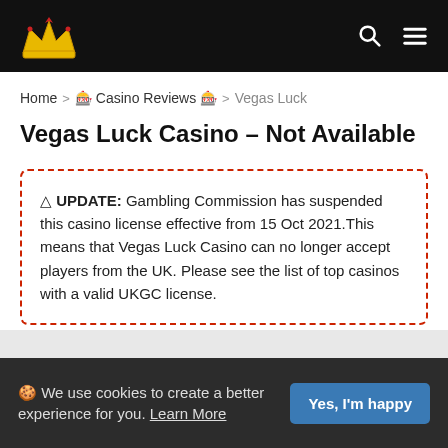Vegas Luck Casino site header with crown logo, search icon, and menu icon
Home > 🎰 Casino Reviews 🎰 > Vegas Luck
Vegas Luck Casino – Not Available
⚠ UPDATE: Gambling Commission has suspended this casino license effective from 15 Oct 2021.This means that Vegas Luck Casino can no longer accept players from the UK. Please see the list of top casinos with a valid UKGC license.
🍪 We use cookies to create a better experience for you. Learn More  [Yes, I'm happy]